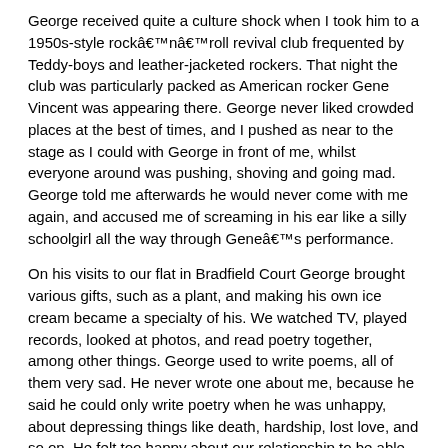George received quite a culture shock when I took him to a 1950s-style rockâ€™nâ€™roll revival club frequented by Teddy-boys and leather-jacketed rockers. That night the club was particularly packed as American rocker Gene Vincent was appearing there. George never liked crowded places at the best of times, and I pushed as near to the stage as I could with George in front of me, whilst everyone around was pushing, shoving and going mad. George told me afterwards he would never come with me again, and accused me of screaming in his ear like a silly schoolgirl all the way through Geneâ€™s performance.
On his visits to our flat in Bradfield Court George brought various gifts, such as a plant, and making his own ice cream became a specialty of his. We watched TV, played records, looked at photos, and read poetry together, among other things. George used to write poems, all of them very sad. He never wrote one about me, because he said he could only write poetry when he was unhappy, about depressing things like death, hardship, lost love, and so on. He felt too happy about our relationship to be able to compose his kind of melancholy, but beautiful, poetry.
Â
He tried to instil some sense of culture and the arts in me, and one day, after seeing the Christmas illuminations in Regent Street, he took me (and my aunt) to see â€˜La Bohemeâ€™ at The Coliseum. Sadly, although I enjoyed some of the arias, I could never really understand